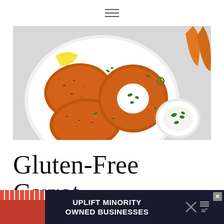☰
[Figure (photo): Overhead view of carrot fritters on a white plate, one topped with sour cream and green onions, alongside a lemon wedge and a small bowl of dip with green onions. Fresh carrots visible in background.]
Gluten-Free Carrot Fritters Recipe
[Figure (other): Advertisement banner: UPLIFT MINORITY OWNED BUSINESSES with store graphic on the left and close button on the right]